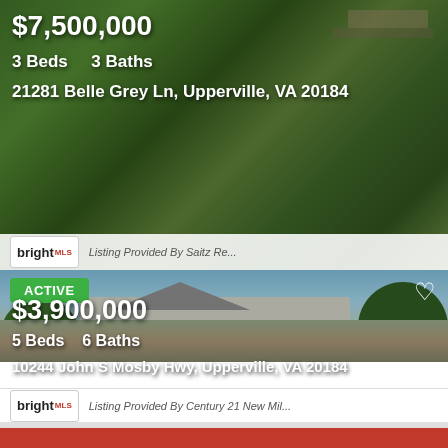[Figure (photo): Aerial view of estate property with green fields and trees]
$7,500,000
3 Beds    3 Baths
21281 Belle Grey Ln, Upperville, VA 20184
bright MLS  Listing Provided By Saitz Re...
[Figure (photo): Exterior photo of large classical stone mansion with trees]
ACTIVE
$3,900,000
5 Beds    6 Baths
10244 John S Mosby Hwy, Upperville, VA 20184
bright MLS  Listing Provided By Century 21 New Mil...